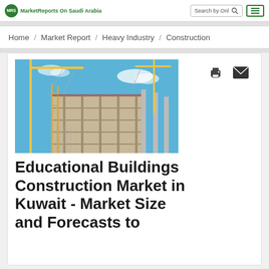MarketReports On Saudi Arabia | Search by Onl
Home / Market Report / Heavy Industry / Construction
[Figure (photo): Construction site with cranes and a building under construction against a blue sky]
Educational Buildings Construction Market in Kuwait - Market Size and Forecasts to